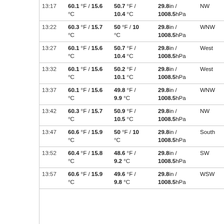| Time | Temp | Dew Point | Pressure | Wind Dir | Wind Speed |
| --- | --- | --- | --- | --- | --- |
| 13:17 | 60.1 °F / 15.6 °C | 50.7 °F / 10.4 °C | 29.8in / 1008.5hPa | NW | 4... 6 |
| 13:22 | 60.3 °F / 15.7 °C | 50 °F / 10 °C | 29.8in / 1008.5hPa | WNW | 2... 4 |
| 13:27 | 60.1 °F / 15.6 °C | 50.7 °F / 10.4 °C | 29.8in / 1008.5hPa | West | 2... 4 |
| 13:32 | 60.1 °F / 15.6 °C | 50.2 °F / 10.1 °C | 29.8in / 1008.5hPa | West | 0... 1 |
| 13:37 | 60.1 °F / 15.6 °C | 49.8 °F / 9.9 °C | 29.8in / 1008.5hPa | WNW | 4... 6 |
| 13:42 | 60.3 °F / 15.7 °C | 50.9 °F / 10.5 °C | 29.8in / 1008.5hPa | NW | 4... 6 |
| 13:47 | 60.6 °F / 15.9 °C | 50 °F / 10 °C | 29.8in / 1008.5hPa | South | 1... 1 |
| 13:52 | 60.4 °F / 15.8 °C | 48.6 °F / 9.2 °C | 29.8in / 1008.5hPa | SW | 4... 7 |
| 13:57 | 60.6 °F / 15.9 °C | 49.6 °F / 9.8 °C | 29.8in / 1008.5hPa | WSW | 2... 3 |